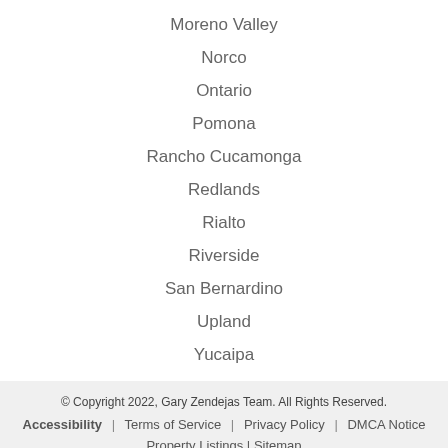Moreno Valley
Norco
Ontario
Pomona
Rancho Cucamonga
Redlands
Rialto
Riverside
San Bernardino
Upland
Yucaipa
© Copyright 2022, Gary Zendejas Team. All Rights Reserved. | Accessibility | Terms of Service | Privacy Policy | DMCA Notice | Property Listings | Sitemap | Real Estate Websites by Sierra Interactive